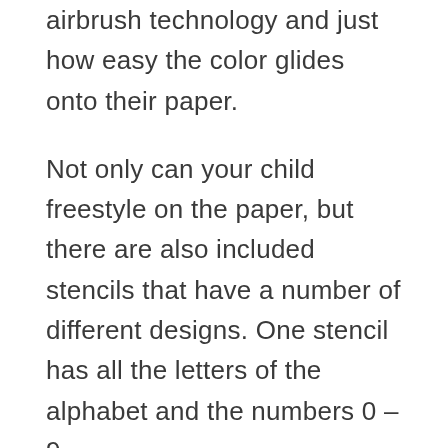airbrush technology and just how easy the color glides onto their paper.
Not only can your child freestyle on the paper, but there are also included stencils that have a number of different designs. One stencil has all the letters of the alphabet and the numbers 0 – 9.
The other one has more artistic cut outs including stars, leaves, dragons, horses, the sun, and the moon. There are 10 pieces of paper included so they can get started right away.